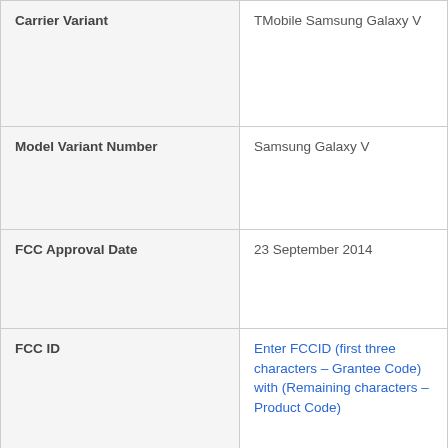| Field | Value |
| --- | --- |
| Carrier Variant | TMobile Samsung Galaxy V |
| Model Variant Number | Samsung Galaxy V |
| FCC Approval Date | 23 September 2014 |
| FCC ID | Enter FCCID (first three characters – Grantee Code) with (Remaining characters – Product Code) |
| FCC Report Link | Link To FCC SAR Test Information For TMobile Model Samsung Galaxy V |
|  | For any TMobile cell phones to |